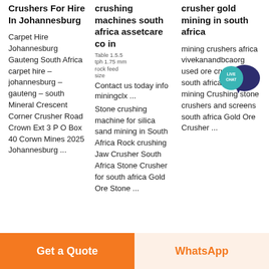Crushers For Hire In Johannesburg
Carpet Hire Johannesburg Gauteng South Africa carpet hire – johannesburg – gauteng – south Mineral Crescent Corner Crusher Road Crown Ext 3 P O Box 40 Corwn Mines 2025 Johannesburg ...
crushing machines south africa assetcare co in
Table 1.5.5 tph 1.75 mm rock feed size
Contact us today info miningclx ...
Stone crushing machine for silica sand mining in South Africa Rock crushing Jaw Crusher South Africa Stone Crusher for south africa Gold Ore Stone ...
crusher gold mining in south africa
[Figure (illustration): Live Chat speech bubble icon in teal/dark blue with text LIVE CHAT]
mining crushers africa vivekanandbcaorg used ore crushers in south africa for gold mining Crushing stone crushers and screens south africa Gold Ore Crusher ...
Get a Quote
WhatsApp